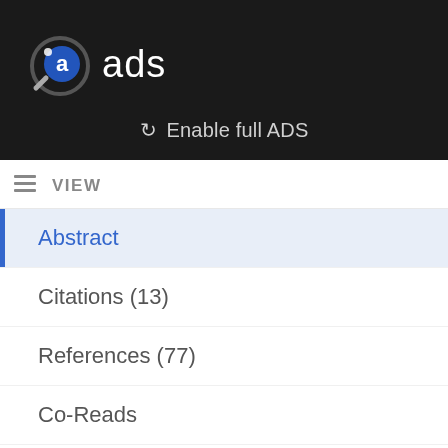[Figure (logo): ADS (Astrophysics Data System) logo: circular magnifying glass icon with letter 'a' in blue circle, followed by text 'ads' in white on dark background]
Enable full ADS
VIEW
Abstract
Citations (13)
References (77)
Co-Reads
Similar Papers
Volume Content
Graphics